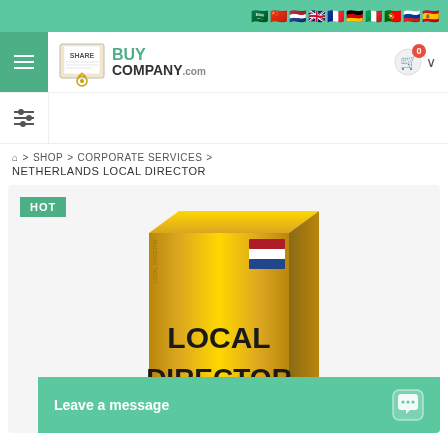Flag language bar with multiple language flag icons
[Figure (screenshot): BuyCompany.com website navigation bar with logo, hamburger menu, cart icon showing 0 items]
HOME > SHOP > CORPORATE SERVICES > NETHERLANDS LOCAL DIRECTOR
[Figure (photo): Gold box product packaging labeled LOCAL DIRECTOR with Netherlands flag, HOT badge in green]
Leave a message